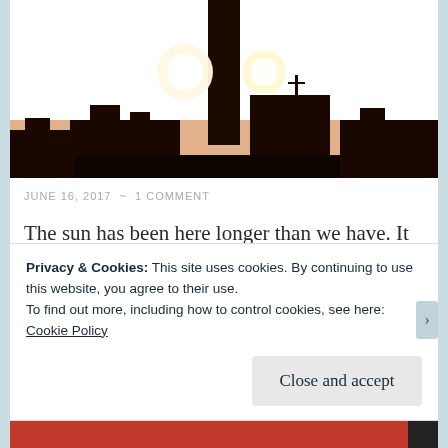[Figure (photo): Sunset photograph showing a large orange sky with the sun setting behind a tall dark industrial structure/chimney silhouette, with city buildings in the background silhouette.]
JUNE 16, 2017  ~  1 COMMENT
The sun has been here longer than we have. It is also burning hot. The sun itself is, but also here on earth. Yes, of course we created this
Privacy & Cookies: This site uses cookies. By continuing to use this website, you agree to their use.
To find out more, including how to control cookies, see here:
Cookie Policy
Close and accept